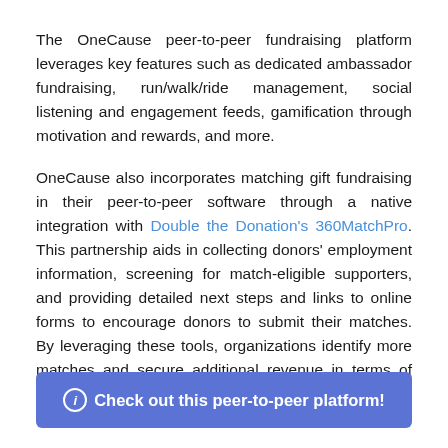The OneCause peer-to-peer fundraising platform leverages key features such as dedicated ambassador fundraising, run/walk/ride management, social listening and engagement feeds, gamification through motivation and rewards, and more.
OneCause also incorporates matching gift fundraising in their peer-to-peer software through a native integration with Double the Donation's 360MatchPro. This partnership aids in collecting donors' employment information, screening for match-eligible supporters, and providing detailed next steps and links to online forms to encourage donors to submit their matches. By leveraging these tools, organizations identify more matches and secure additional revenue in terms of both company matches and increased individual gifts.
Check out this peer-to-peer platform!